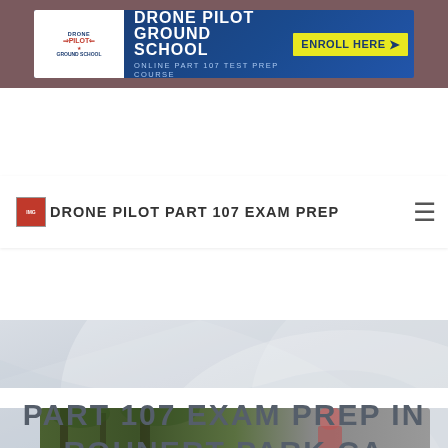[Figure (screenshot): Drone Pilot Ground School advertisement banner with logo, tagline 'ONLINE PART 107 TEST PREP COURSE' and 'ENROLL HERE' button on dark blue background]
DRONE PILOT PART 107 EXAM PREP
PART 107 EXAM PREP IN ROHNERT PARK CA
[Figure (photo): Partial photo at bottom showing person in outdoor/forest setting]